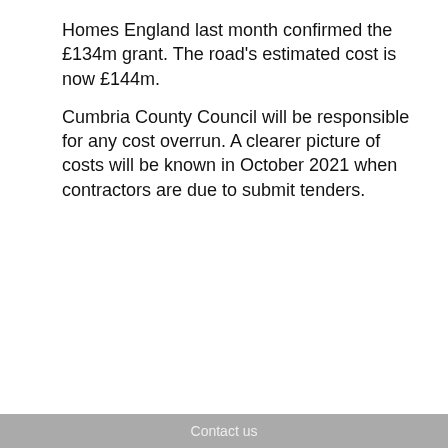Homes England last month confirmed the £134m grant. The road's estimated cost is now £144m.
Cumbria County Council will be responsible for any cost overrun. A clearer picture of costs will be known in October 2021 when contractors are due to submit tenders.
[Figure (screenshot): A jobs widget with a tab bar showing 'Latest Jobs' and 'Job Search', a large red circle logo for jobs-in-transport.com, and a 'Programme Manager' link below.]
Contact us